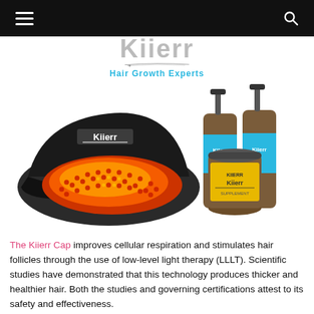≡  Q
[Figure (logo): Kiierr logo with 'Hair Growth Experts' tagline in cyan]
[Figure (photo): Kiierr laser cap with glowing red/orange LEDs on the left, and three Kiierr product bottles (two tall pump bottles and one supplement jar) on the right, on white background]
The Kiierr Cap improves cellular respiration and stimulates hair follicles through the use of low-level light therapy (LLLT). Scientific studies have demonstrated that this technology produces thicker and healthier hair. Both the studies and governing certifications attest to its safety and effectiveness.
Until recently, this technology was available only through expensive procedures performed by physicians. Now, you